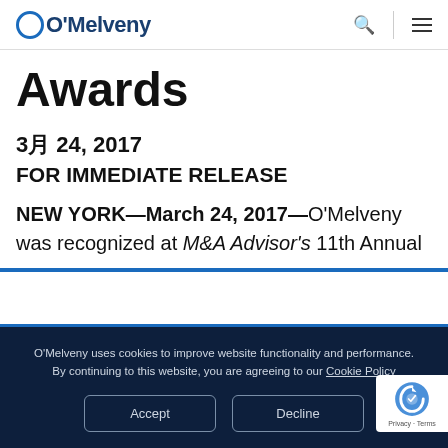O'Melveny
Awards
3月 24, 2017
FOR IMMEDIATE RELEASE
NEW YORK—March 24, 2017—O'Melveny was recognized at M&A Advisor's 11th Annual
O'Melveny uses cookies to improve website functionality and performance. By continuing to this website, you are agreeing to our Cookie Policy
Accept
Decline